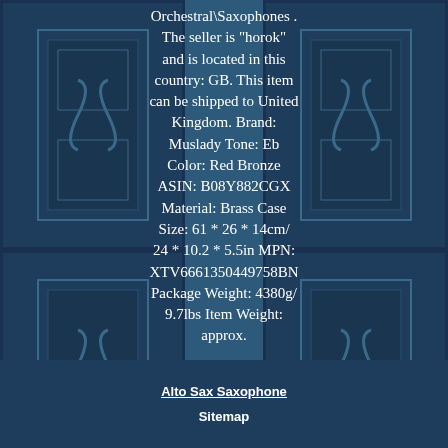Orchestral\Saxophones . The seller is "horok" and is located in this country: GB. This item can be shipped to United Kingdom. Brand: Muslady Tone: Eb Color: Red Bronze ASIN: B08Y882CGX Material: Brass Case Size: 61 * 26 * 14cm/ 24 * 10.2 * 5.5in MPN: XTV6661350449758BN Package Weight: 4380g/ 9.7lbs Item Weight: approx.
2550g/ 5.6lbs
Package Size: 65.5 * 29 * 17cm/ 25.8 * 11.4 * 6.7in EAN: 0798881589805
More info on eBay...
Alto Sax Saxophone
Sitemap